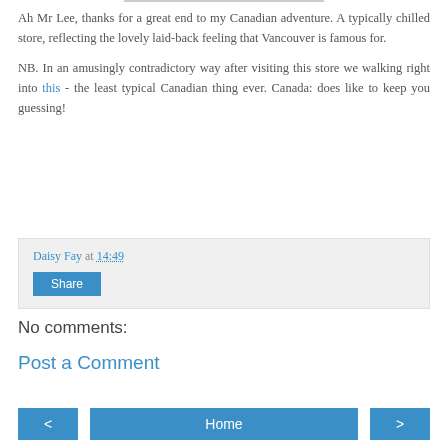Ah Mr Lee, thanks for a great end to my Canadian adventure. A typically chilled store, reflecting the lovely laid-back feeling that Vancouver is famous for.
NB. In an amusingly contradictory way after visiting this store we walking right into this - the least typical Canadian thing ever. Canada: does like to keep you guessing!
Daisy Fay at 14:49
Share
No comments:
Post a Comment
< | Home | >